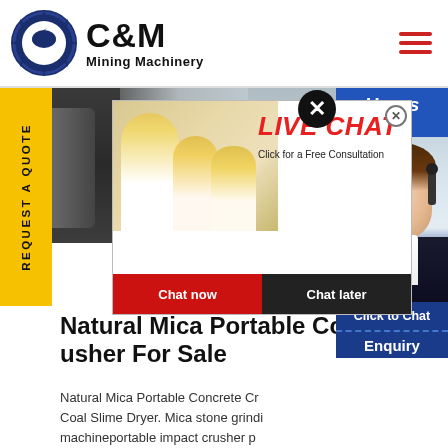[Figure (logo): C&M Mining Machinery logo — circular emblem with eagle and gear, bold C&M text and Mining Machinery subtitle]
[Figure (photo): Banner photo of industrial machinery and mining equipment facility]
[Figure (infographic): Live Chat popup overlay with workers in hard hats, LIVE CHAT heading in red, 'Click for a Free Consultation' text, Chat now (red) and Chat later (dark) buttons]
[Figure (photo): Right panel showing Hours badge in blue, support agent woman wearing headset, Click to Chat button, and Enquiry label]
Natural Mica Portable Concrete Crusher For Sale
Natural Mica Portable Concrete Crusher Coal Slime Dryer. Mica stone grinding machineportable impact crusher p